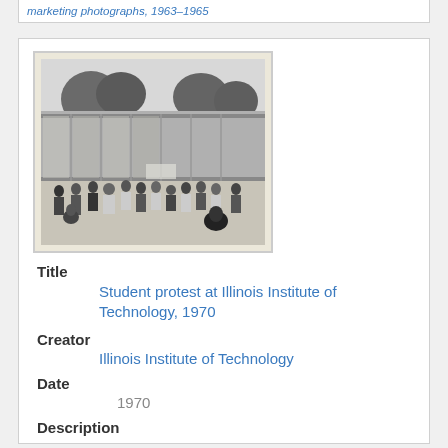marketing photographs, 1963-1965
[Figure (photo): Black and white photograph of a student protest at Illinois Institute of Technology, 1970. Shows a crowd of people in front of a modern glass-fronted building, with a person sitting in the foreground.]
Title
Student protest at Illinois Institute of Technology, 1970
Creator
Illinois Institute of Technology
Date
1970
Description